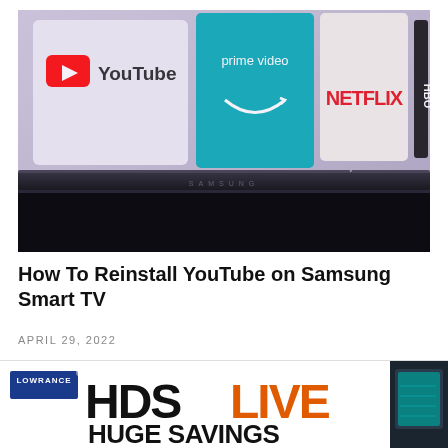[Figure (photo): Samsung Smart TV screen showing streaming app tiles: YouTube (red icon), Amazon Prime Video (teal tile), Netflix (beige/white tile), and HBO (black tile). Bottom portion shows the dark TV bezel with Samsung branding.]
How To Reinstall YouTube on Samsung Smart TV
APRIL 29, 2022
[Figure (illustration): Lowrance HDS LIVE advertisement banner with Lowrance logo badge, HDS LIVE text logo in black and orange, HUGE SAVINGS text, and a Lowrance fish finder device on the right side.]